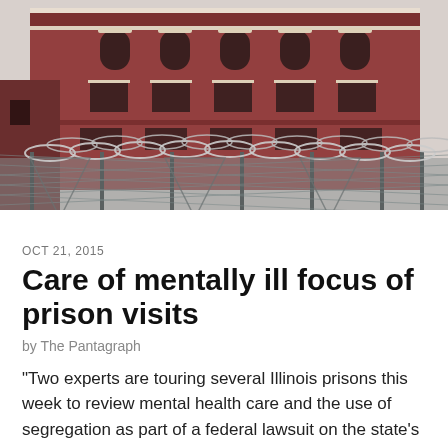[Figure (photo): Exterior of a red brick prison building with barbed wire fencing in the foreground. The building features arched windows and ornate brickwork. Razor wire coils sit atop a chain-link security fence.]
OCT 21, 2015
Care of mentally ill focus of prison visits
by The Pantagraph
"Two experts are touring several Illinois prisons this week to review mental health care and the use of segregation as part of a federal lawsuit on the state's treatment of mentally ill prisoners". The...